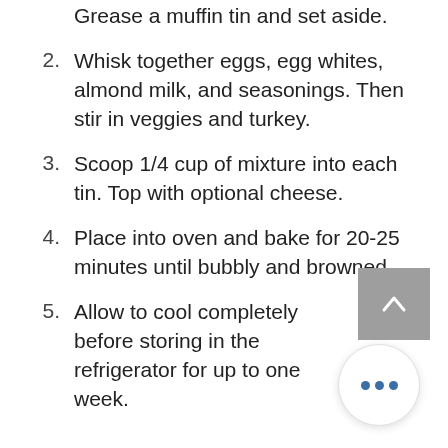Grease a muffin tin and set aside.
Whisk together eggs, egg whites, almond milk, and seasonings. Then stir in veggies and turkey.
Scoop 1/4 cup of mixture into each tin. Top with optional cheese.
Place into oven and bake for 20-25 minutes until bubbly and browned.
Allow to cool completely before storing in the refrigerator for up to one week.